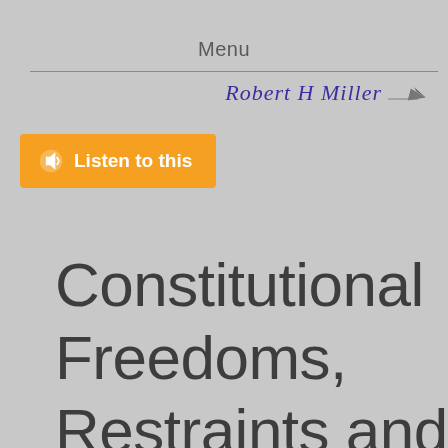Menu
[Figure (logo): Robert H Miller signature logo with pen icon]
[Figure (other): Orange 'Listen to this' audio button with speaker icon]
Constitutional Freedoms, Restraints and Responsibilities